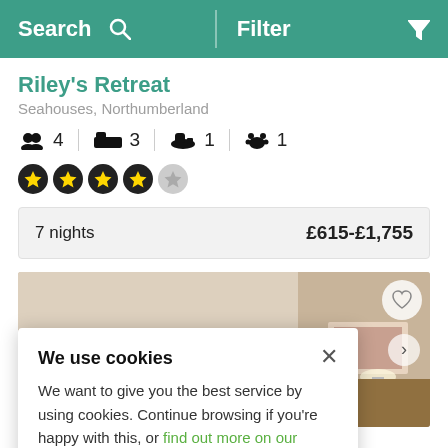Search  Filter
Riley's Retreat
Seahouses, Northumberland
Guests: 4  Bedrooms: 3  Bathrooms: 1  Pets: 1
Rating: 4 out of 5 stars
7 nights  £615-£1,755
[Figure (photo): Interior photo of Riley's Retreat showing a room with warm lighting]
We use cookies
We want to give you the best service by using cookies. Continue browsing if you're happy with this, or find out more on our cookies.